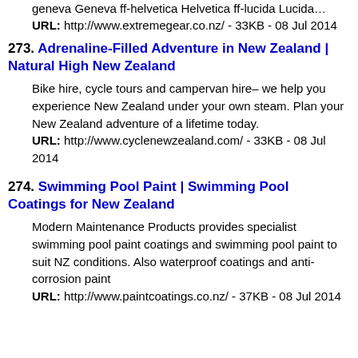geneva Geneva ff-helvetica Helvetica ff-lucida Lucida… URL: http://www.extremegear.co.nz/ - 33KB - 08 Jul 2014
273. Adrenaline-Filled Adventure in New Zealand | Natural High New Zealand
Bike hire, cycle tours and campervan hire– we help you experience New Zealand under your own steam. Plan your New Zealand adventure of a lifetime today. URL: http://www.cyclenewzealand.com/ - 33KB - 08 Jul 2014
274. Swimming Pool Paint | Swimming Pool Coatings for New Zealand
Modern Maintenance Products provides specialist swimming pool paint coatings and swimming pool paint to suit NZ conditions. Also waterproof coatings and anti-corrosion paint URL: http://www.paintcoatings.co.nz/ - 37KB - 08 Jul 2014